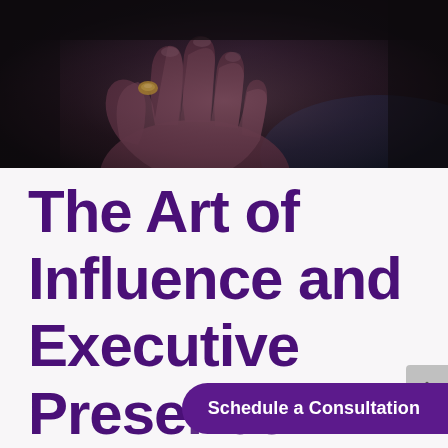[Figure (photo): Dark photograph of a hand holding a small object (appears to be a ring or coin) between the fingers against a very dark background with subtle blue tones.]
The Art of Influence and Executive Presence
Schedule a Consultation